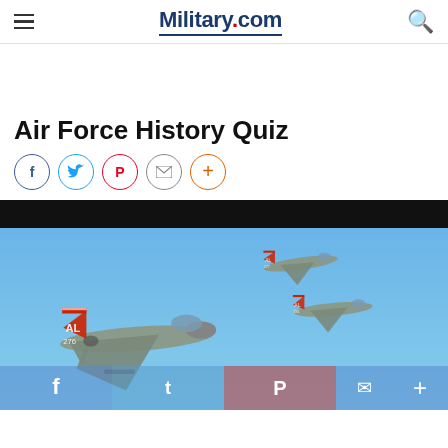Military.com
Air Force History Quiz
[Figure (screenshot): Social sharing buttons row: Facebook, Twitter, Pinterest, Email, Plus]
[Figure (photo): Three F-16 fighter jets labeled AL flying in formation against a clear blue sky]